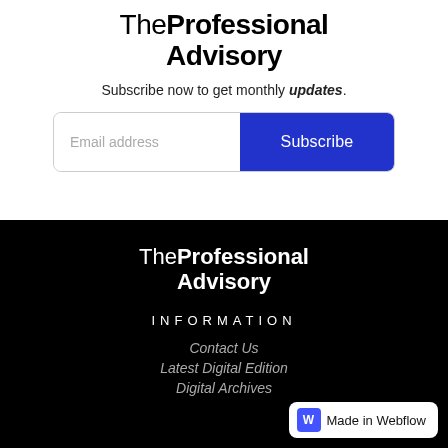TheProfessional Advisory
Subscribe now to get monthly updates.
[Figure (other): Email subscription form with email address input field and blue Subscribe button]
[Figure (logo): TheProfessional Advisory logo in white on black background]
INFORMATION
Contact Us
Latest Digital Edition
Digital Archives
Made in Webflow